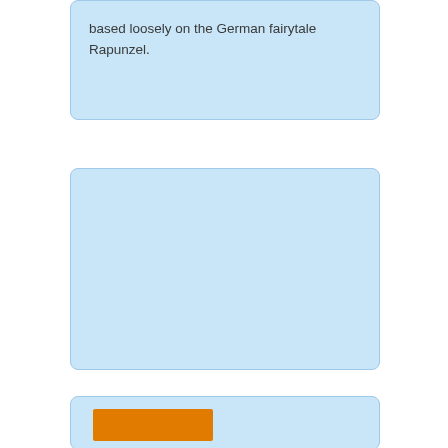based loosely on the German fairytale Rapunzel.
[Figure (other): Large light blue rounded rectangle placeholder image box]
[Figure (other): Light blue rounded rectangle with an orange bar element at bottom of page]